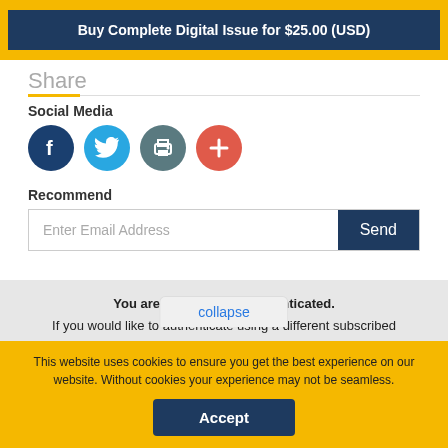Buy Complete Digital Issue for $25.00 (USD)
Share
Social Media
[Figure (illustration): Four social media icon circles: Facebook (dark blue), Twitter (light blue), Print (teal-gray), Add/Plus (red-orange)]
Recommend
Enter Email Address
collapse
You are not currently authenticated. If you would like to authenticate using a different subscribed institution or
This website uses cookies to ensure you get the best experience on our website. Without cookies your experience may not be seamless.
Accept